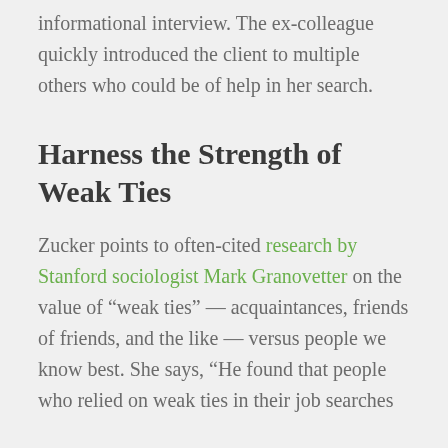informational interview. The ex-colleague quickly introduced the client to multiple others who could be of help in her search.
Harness the Strength of Weak Ties
Zucker points to often-cited research by Stanford sociologist Mark Granovetter on the value of “weak ties” — acquaintances, friends of friends, and the like — versus people we know best. She says, “He found that people who relied on weak ties in their job searches